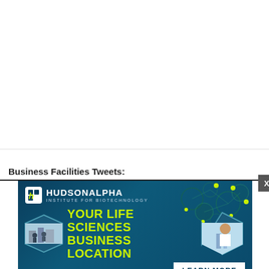Business Facilities Tweets:
[Figure (screenshot): HudsonAlpha Institute for Biotechnology advertisement banner. Dark teal/navy background with hexagon network graphics. Logo top left with 'HUDSONALPHA INSTITUTE FOR BIOTECHNOLOGY'. Large yellow-green text reads 'YOUR LIFE SCIENCES BUSINESS LOCATION' with a 'LEARN MORE' white button. Hexagonal image frames showing lab and office scenes. Close button (X) top right.]